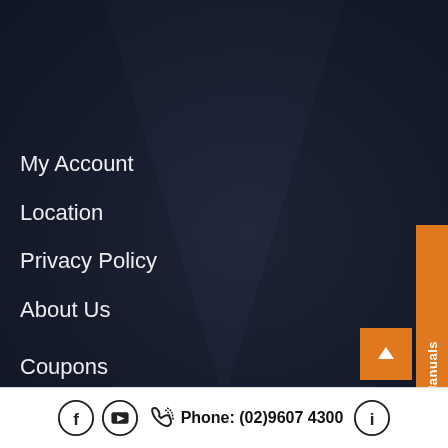My Account
Location
Privacy Policy
About Us
Coupons
View Product Manuals
Phone: (02)9607 4300